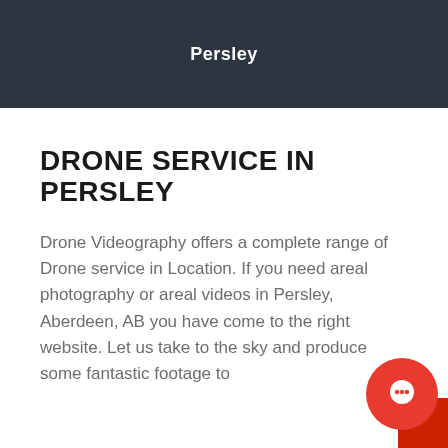Persley
DRONE SERVICE IN PERSLEY
Drone Videography offers a complete range of Drone service in Location. If you need areal photography or areal videos in Persley, Aberdeen, AB you have come to the right website. Let us take to the sky and produce some fantastic footage to